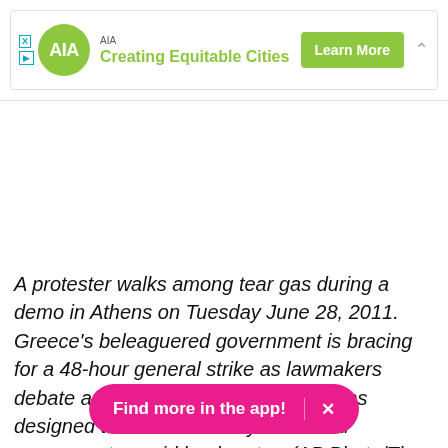[Figure (other): AIA advertisement banner with green AIA circular logo, text 'AIA Creating Equitable Cities', a green 'Learn More' button, and a chevron up arrow.]
A protester walks among tear gas during a demo in Athens on Tuesday June 28, 2011. Greece's beleaguered government is bracing for a 48-hour general strike as lawmakers debate a new round of austerity reforms designed to win the country additional resources to avoid bankruptcy. (AP Photo/Th...
[Figure (other): Pink pill-shaped 'Find more in the app!' banner button with an X close button.]